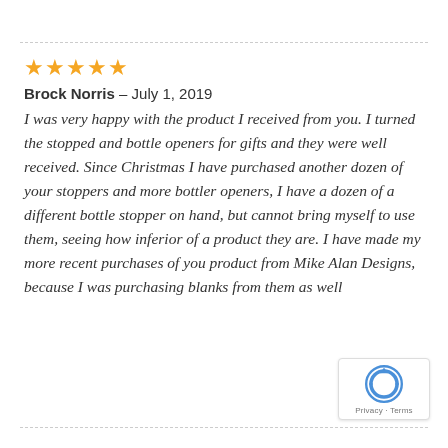★★★★★
Brock Norris – July 1, 2019
I was very happy with the product I received from you. I turned the stopped and bottle openers for gifts and they were well received. Since Christmas I have purchased another dozen of your stoppers and more bottler openers, I have a dozen of a different bottle stopper on hand, but cannot bring myself to use them, seeing how inferior of a product they are. I have made my more recent purchases of you product from Mike Alan Designs, because I was purchasing blanks from them as well